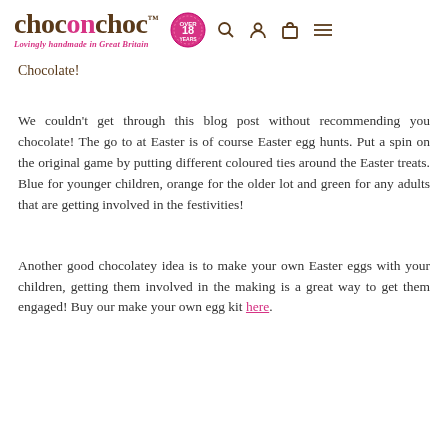choconchoc™ — Lovingly handmade in Great Britain
Chocolate!
We couldn't get through this blog post without recommending you chocolate! The go to at Easter is of course Easter egg hunts. Put a spin on the original game by putting different coloured ties around the Easter treats. Blue for younger children, orange for the older lot and green for any adults that are getting involved in the festivities!
Another good chocolatey idea is to make your own Easter eggs with your children, getting them involved in the making is a great way to get them engaged! Buy our make your own egg kit here.